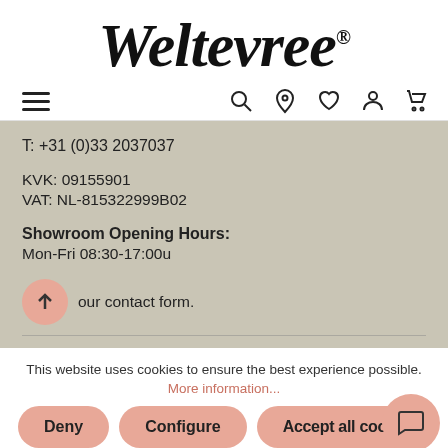[Figure (logo): Weltevree brand logo in italic serif font with registered trademark symbol]
[Figure (screenshot): Navigation bar with hamburger menu icon on left and search, location, heart, person, cart icons on right]
T: +31 (0)33 2037037
KVK: 09155901
VAT: NL-815322999B02
Showroom Opening Hours:
Mon-Fri 08:30-17:00u
our contact form.
This website uses cookies to ensure the best experience possible.
More information...
Deny
Configure
Accept all cook